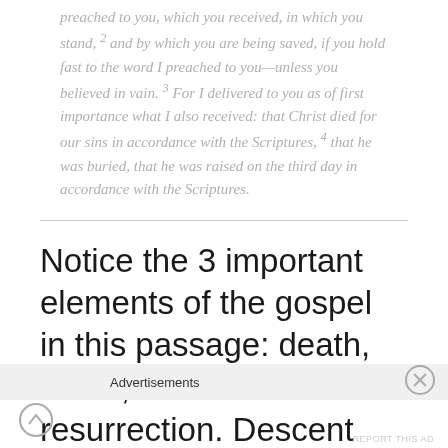preached to you, which you received, in which you stand, 2 and by which you are being saved, if you hold fast to the word I preached to you—unless you believed in vain. 3 For I delivered to you as of first importance what I also received: that Christ died for our sins in accordance with the Scriptures, 4 that he was buried, that he was raised on the third day in accordance with the Scriptures.
Notice the 3 important elements of the gospel in this passage: death, burial, and resurrection. Descent into hell is not an element of the gospel.
Advertisements